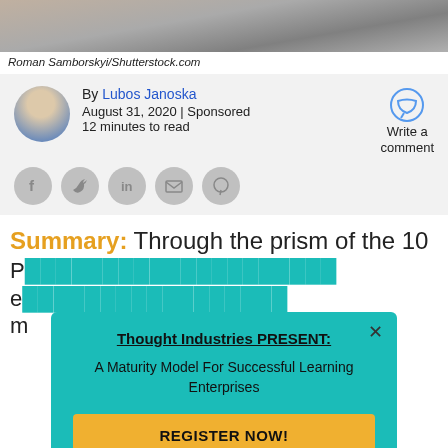[Figure (photo): Photo strip of a workspace/desk scene from above]
Roman Samborskyi/Shutterstock.com
By Lubos Janoska
August 31, 2020 | Sponsored
12 minutes to read
Write a comment
[Figure (infographic): Social share icons: Facebook, Twitter, LinkedIn, Email, Pinterest]
Summary: Through the prism of the 10
[Figure (screenshot): Popup overlay: Thought Industries PRESENT: A Maturity Model For Successful Learning Enterprises. REGISTER NOW! button.]